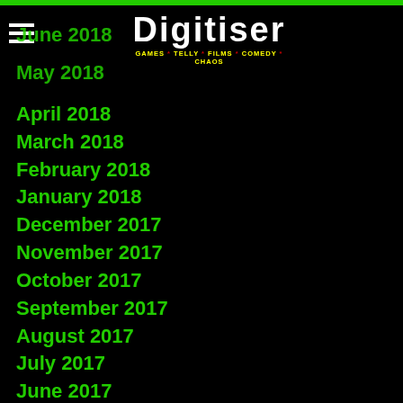Digitiser — GAMES * TELLY * FILMS * COMEDY * CHAOS
June 2018
May 2018
April 2018
March 2018
February 2018
January 2018
December 2017
November 2017
October 2017
September 2017
August 2017
July 2017
June 2017
May 2017
April 2017
March 2017
February 2017